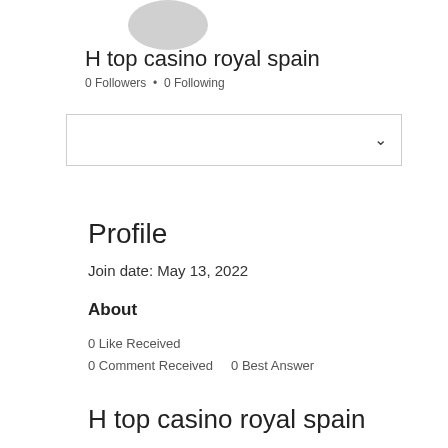[Figure (illustration): Circular grey avatar placeholder image, partially visible at top]
H top casino royal spain
0 Followers • 0 Following
[Figure (other): Dropdown selector box with chevron/arrow on right side]
Profile
Join date: May 13, 2022
About
0 Like Received
0 Comment Received   0 Best Answer
H top casino royal spain